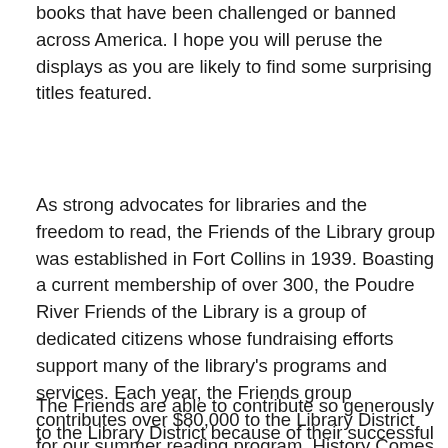books that have been challenged or banned across America. I hope you will peruse the displays as you are likely to find some surprising titles featured.
As strong advocates for libraries and the freedom to read, the Friends of the Library group was established in Fort Collins in 1939. Boasting a current membership of over 300, the Poudre River Friends of the Library is a group of dedicated citizens whose fundraising efforts support many of the library's programs and services. Each year, the Friends group contributes over $80,000 to the Library District for our summer reading program, History Comes Alive series, Kevin Cook programs, Annie Walk, Victorian Fest, and more. The Poudre River Friends of the Library is also a generous sponsor of Fort Collins Reads.
The Friends are able to contribute so generously to the Library District because of their successful bookselling efforts. Throughout the year, a cadre of friends sort, store and organize thousands of books for three book sales and the Friends book shop at Harmony Library. The largest sale of the year occurs on October 1-3 at Foothills Mall...